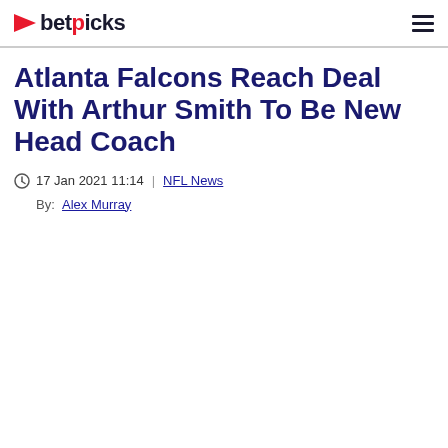betpicks
Atlanta Falcons Reach Deal With Arthur Smith To Be New Head Coach
17 Jan 2021 11:14  |  NFL News
By:  Alex Murray